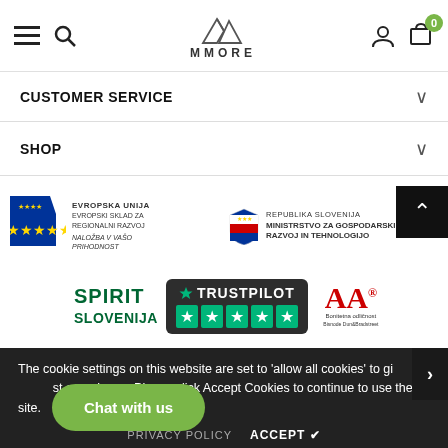[Figure (screenshot): Website navigation header with hamburger menu, search icon, MMORE mountain logo, user icon, and cart icon showing 0 items]
CUSTOMER SERVICE
SHOP
[Figure (logo): EU Cohesion Fund / EVROPSKA UNIJA EVROPSKI SKLAD ZA REGIONALNI RAZVOJ NALOŽBA V VAŠO PRIHODNOST logo]
[Figure (logo): REPUBLIKA SLOVENIJA MINISTRSTVO ZA GOSPODARSKI RAZVOJ IN TEHNOLOGIJO logo]
[Figure (logo): SPIRIT SLOVENIJA logo]
[Figure (logo): Trustpilot 5-star rating logo]
[Figure (logo): AA Bonitetna odličnost / Bisnode logo]
The cookie settings on this website are set to 'allow all cookies' to give you the best experience. Please click Accept Cookies to continue to use the site.
PRIVACY POLICY   ACCEPT ✔
Chat with us